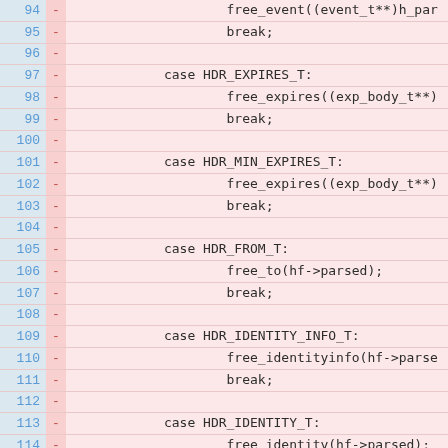[Figure (screenshot): Code diff view showing lines 94-117 of a C source file. Lines show deleted code (marked with '-') with pink background. Line numbers in blue on left, diff marker column, then code content in monospace font. Code shows switch-case blocks for freeing different SIP header types: HDR_EXPIRES_T, HDR_MIN_EXPIRES_T, HDR_FROM_T, HDR_IDENTITY_INFO_T, HDR_IDENTITY_T, HDR_PAI_T.]